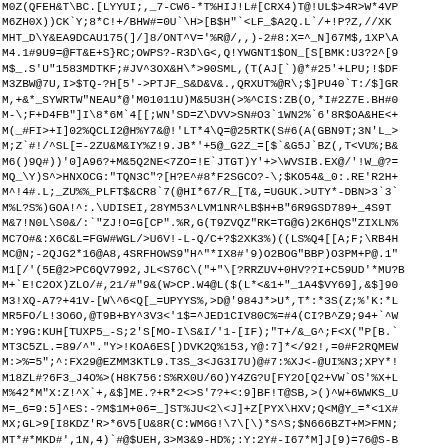M0Z(QFEH&T\BC.[LYYUI;,_7-CW6-*T%HIJ!L#[CRX4)T@!UL$>4R>W*4VP
M6ZH0X))CK`Y;8*C!+/BHW#=0U`\H>[B$H"`<LF_$A2Q.L`/+!P?Z,//XK
MHT_D\Y&EA9DCAU175(]/]8/ONT^V='%R@/,,)-2#8:X=^_N]67M$,1XP\A
M4.1#9U9=@FT&E+S}RC;OWPS?-R3D\G<,Q!YWGNT1$ON_[S[BMK:U3?2^[9
M$_.S'U"1583MDTKF;#JV^3OX&H\*>90SML,(T(AJ[`)@*#25'+LPU;!$DF
M3ZBW@7U,I>$TQ-?H[5'->PTJF_S&D&V&.,QRXUT%@R\;$]PU40`T:/$]GR
M,+&*_SYWRTW"NEAU*@'M01011U)M&5U3H(>%^CIS:ZB(O,*I#2Z7E.BH#0
M-\;F+D4FB"]I\8*6M`4[[;WN'SD=Z\DVV>SN#O3`1WN2%`6'8R$OA&HE<+
M(_#FI>+I]02%QCLI2@H%Y7&@!'LT*4\Q=@25RTK(S#6(A(GBN9T;3N'L_>
M;Z`#!/^SL[=-2ZU&M&IY%Z!9.JB*'+5@_G2Z_=[$`&G5J`BZ(,T<VU%;B&
M6()9Q#))'0]A96?+M&5Q2NE<7ZO=!E`JTGT)Y'+>\WVSIB.EX@/'!W_@?=
MQ_\Y)S^>HNXOCG:"TQN3C"?[H?E^#8*F2SGCO?-\;$KO54&_0:.RE'R2H+
M^!4#.L;_ZU%%_PLFT$&CR8`7(@HI*67/R_[T&,=UGUK.>UTY*-DBN>3`3`
M%L?S%)GOA!^:.\\UDISEI,28YM53^LVM1NR^LB$H+B"6R9GSD789+_4S9T
M&7!N0L\S0&/:`"ZJ!O=G[CP".%R,G(T9ZVQZ"RK=TG@G)2K6HQS"ZIXLN%
MC7O#&:X6C&L=FGW#WGL/>U6V!-L-Q/C+?$2XK3%)((LS%Q4[[A;F;\RB4H
MC@N;-2QJG2*16@A8,4SRFHOWS9"H^"*IX8#'9)O2BOG"BBP)O3PM+P@.1"
M1[/'(5E@2>PC6QV7992,JL<S76C\("+"\[?RRZUV+0HV??I+C59UD'*MU?B
M+`E!C2OX)ZLO/#,21/#"9&(W>CP.W4@L($(L*<&1+"_1A4$VY69],&$]90
M3!XQ-A7?+41V-[W\^6<Q[_=UPYYS%,>D@'984J*>U*,T*:*3S(Z;%'K:*L
MR5FO/L!3O6O,@T9B+BY^3V3<'1$=^JED1CIV80C%=#4(CI?B^Z9;94+`^W
M:Y9G:KUH[TUXP5_-S;2'S[MO-I\S&I/'1-[IF);"T+/&_G^;F<X("P[B.`
MT3C5ZL.=89/^"."Y>!KOA6ES[)DVK2Q%153,Y@:7]*</92!,=0#F2RQMEW
M:>%=5";^:FX29@EZMM3KTL9.T3S_3<JG3I7U)@#7:%XJ<-@UI%N3;XPY*!
M18ZL#?6F3_J4O%>(H8K756:S%RX0U/6O)Y4ZG?U[FY2O[Q2+VW`OS'%X+L
M%42*M"X:Z!^X`+,&$]ME.?+R*2<>S'7?+<:9]BF!T@SB,>()^W+6WWKS_U
M=_6=9:5]^ES:-?M$1M+06=_]ST%JU<2\<J]+Z[PYX\HXV;Q<M@Y_=*<1X#
MX;GL>9[I8KDZ'R>*6V5[U&8K(C:WM6G!\7\[\)*S^S;$N666BZT+M>FMN;
MT*#*MKD#',1N,4)`#@$UEH,3>M3&9-HD%;:Y:2Y#-I67*M]J[9)=76@S-B
MH1V7.'%1'</:I,C@19?%]=@(S%5SLM[[`1YYG,#[D>B_#XTVW>U&-Q2(1F
M>:Y)SZV,SH#J=TG0?8^,']O>O=-K1C:@-@7!6$J>92Q=ZD+AZ#Y/L;BCO
M7E:?..!_A^3)A*W_U^:D$D-ZGR![U#$6G["H4!_M`PT7/TPO\<1\HJ(3`